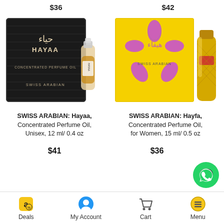$36
$42
[Figure (photo): SWISS ARABIAN Hayaa perfume oil product - black box with Arabic text and HAYAA label, with small glass bottle]
[Figure (photo): SWISS ARABIAN Hayfa perfume oil product - yellow box with pink flower design and Arabic text, with decorative gold bottle]
SWISS ARABIAN: Hayaa, Concentrated Perfume Oil, Unisex, 12 ml/ 0.4 oz
$41
SWISS ARABIAN: Hayfa, Concentrated Perfume Oil, for Women, 15 ml/ 0.5 oz
$36
[Figure (logo): WhatsApp green circle button]
Deals  My Account  Cart  Menu